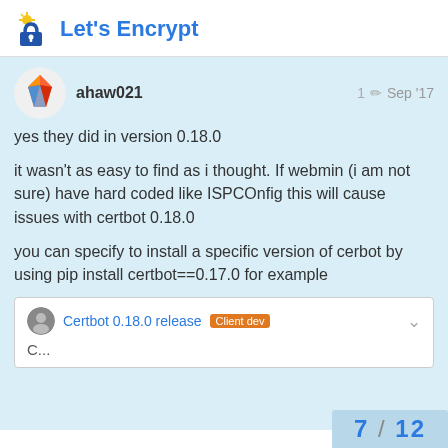Let's Encrypt
ahaw021   1  Sep '17
yes they did in version 0.18.0
it wasn't as easy to find as i thought. If webmin (i am not sure) have hard coded like ISPCOnfig this will cause issues with certbot 0.18.0
you can specify to install a specific version of cerbot by using pip install certbot==0.17.0 for example
Certbot 0.18.0 release  Client dev
C...
7 / 12